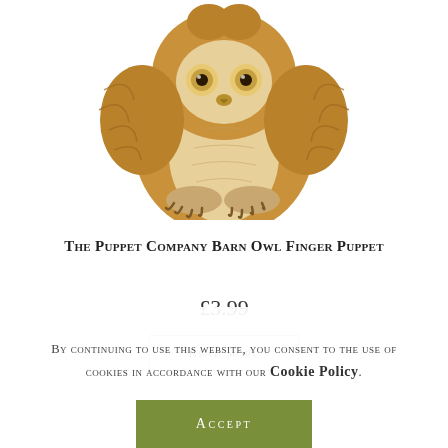[Figure (photo): A fluffy tan and golden-brown barn owl finger puppet toy, photographed from the front against a white background. The owl has large forward-facing eyes, textured feathery fur, and visible clawed feet.]
The Puppet Company Barn Owl Finger Puppet
£3.99
Read more
By continuing to use this website, you consent to the use of cookies in accordance with our Cookie Policy.
Accept